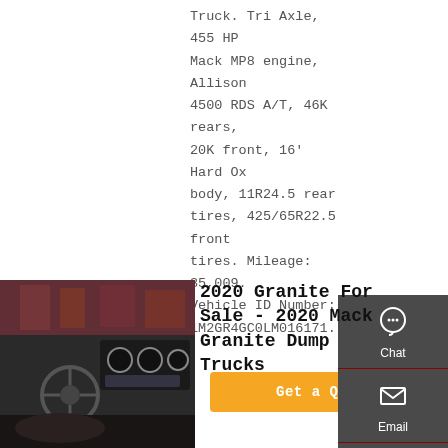Truck. Tri Axle, 455 HP Mack MP8 engine, Allison 4500 RDS A/T, 46K rears, 20K front, 16' Hard Ox body, 11R24.5 rear tires, 425/65R22.5 front tires. Mileage: 35,009. Vehicle ID Number: 1M2GR4GC0LM016171.
[Figure (screenshot): Orange 'Get a Quote' button]
[Figure (infographic): Dark grey sidebar with Chat, Email, Contact icons and Top arrow button]
[Figure (photo): Interior cab photo of a Mack Granite dump truck showing dashboard and steering wheel]
2020 Granite For Sale - 2020 Mack Granite Dump Trucks